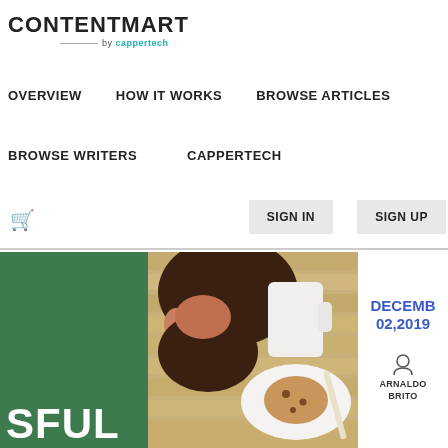CONTENTMART by cappertech
OVERVIEW   HOW IT WORKS   BROWSE ARTICLES
BROWSE WRITERS   CAPPERTECH
SIGN IN   SIGN UP
[Figure (photo): Man leaning over a table with coffee and cookie, photo on article preview card with green banner showing partial text 'SFUL']
DECEMBER 02,2019
ARNALDO BRITO